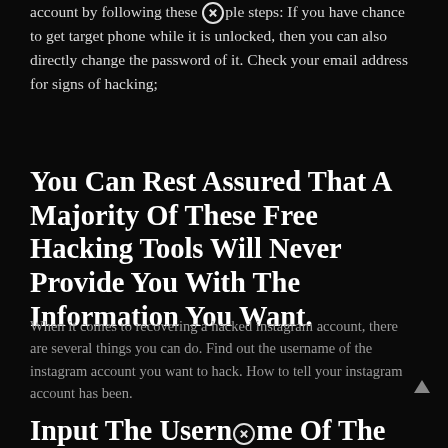account by following these [X] ple steps: If you have chance to get target phone while it is unlocked, then you can also directly change the password of it. Check your email address for signs of hacking;
You Can Rest Assured That A Majority Of These Free Hacking Tools Will Never Provide You With The Information You Want.
When it comes to recovering a hacked instagram account, there are several things you can do. Find out the username of the instagram account you want to hack. How to tell your instagram account has been.
Input The Username Of The